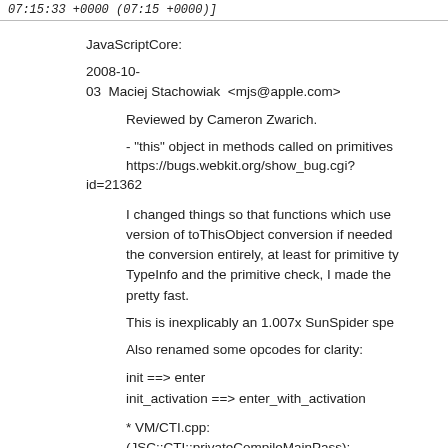07:15:33 +0000 (07:15 +0000)]
JavaScriptCore:
2008-10-03  Maciej Stachowiak  <mjs@apple.com>
Reviewed by Cameron Zwarich.
- "this" object in methods called on primitives https://bugs.webkit.org/show_bug.cgi?id=21362
I changed things so that functions which use version of toThisObject conversion if needed the conversion entirely, at least for primitive ty TypeInfo and the primitive check, I made the pretty fast.
This is inexplicably an 1.007x SunSpider spe
Also renamed some opcodes for clarity:
init ==> enter
init_activation ==> enter_with_activation
* VM/CTI.cpp:
(JSC::CTI::privateCompileMainPass):
(JSC::CTI::privateCompileSlowCases):
* VM/CodeBlock.cpp: